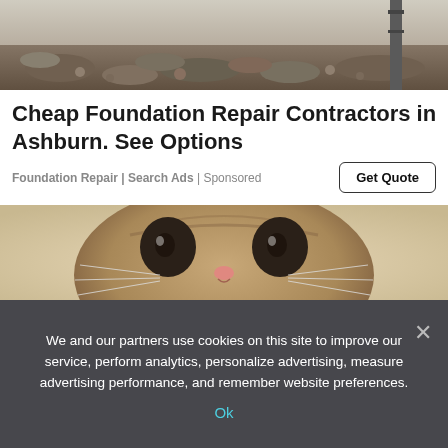[Figure (photo): Top portion of a construction/foundation repair scene showing rubble, gravel and debris, with a metal pole or post visible on the right side.]
Cheap Foundation Repair Contractors in Ashburn. See Options
Foundation Repair | Search Ads | Sponsored
[Figure (photo): Close-up photo of a sad-looking tabby cat with large dark eyes staring directly at the camera, against a light beige background.]
We and our partners use cookies on this site to improve our service, perform analytics, personalize advertising, measure advertising performance, and remember website preferences.